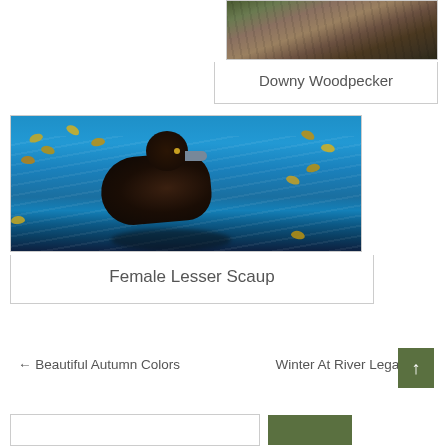[Figure (photo): Downy Woodpecker photo card — partial view of bird on bark, top-right of page]
Downy Woodpecker
[Figure (photo): Female Lesser Scaup duck swimming on blue water with yellow leaves]
Female Lesser Scaup
← Beautiful Autumn Colors   Winter At River Legacy →
Search bar and button at bottom of page